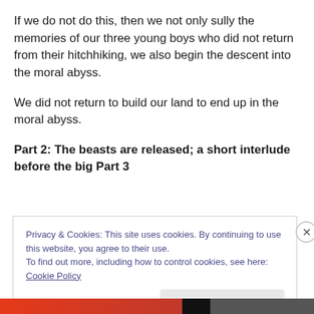If we do not do this, then we not only sully the memories of our three young boys who did not return from their hitchhiking, we also begin the descent into the moral abyss.
We did not return to build our land to end up in the moral abyss.
Part 2: The beasts are released; a short interlude before the big Part 3
Privacy & Cookies: This site uses cookies. By continuing to use this website, you agree to their use.
To find out more, including how to control cookies, see here: Cookie Policy
Close and accept